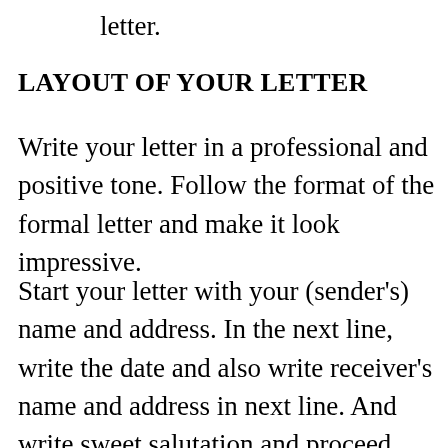letter.
LAYOUT OF YOUR LETTER
Write your letter in a professional and positive tone. Follow the format of the formal letter and make it look impressive.
Start your letter with your (sender's) name and address. In the next line, write the date and also write receiver's name and address in next line. And write sweet salutation and proceed with the man body of your letter. write it briefly but mention important points like your qualities, experience, capabilities, proud moments etc. Thank them with closing